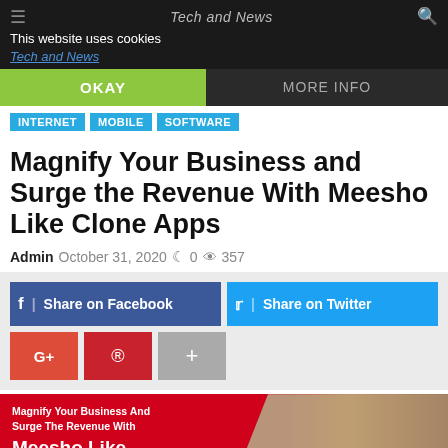Tech and News
This website uses cookies
Tech and News
OKAY | MORE INFO
INTERNET
MOBILE
SOFTWARE
Magnify Your Business and Surge the Revenue With Meesho Like Clone Apps
Admin  October 31, 2020  0  357
[Figure (screenshot): Social share buttons: Share on Facebook (dark blue), Share on Twitter (light blue), G+ (red), Pinterest (red), plus (gray)]
[Figure (infographic): Red and tan banner image with white text: Magnify Your Business And Surge The Revenue With Meesho Like Clone Apps, with two women in background]